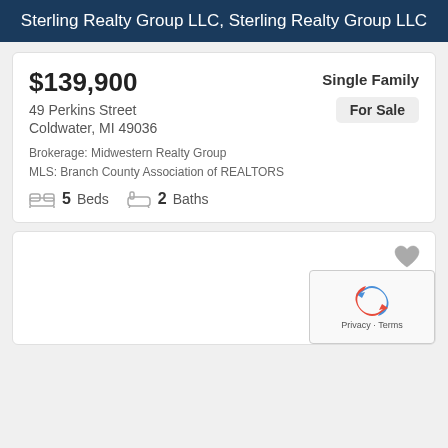Sterling Realty Group LLC, Sterling Realty Group LLC
$139,900
Single Family
For Sale
49 Perkins Street
Coldwater, MI 49036
Brokerage: Midwestern Realty Group
MLS: Branch County Association of REALTORS
5 Beds   2 Baths